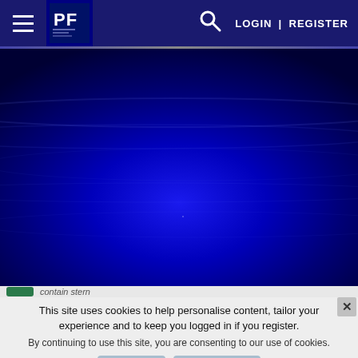[Figure (screenshot): Website navigation bar with hamburger menu, PF logo, search icon, LOGIN | REGISTER links on dark navy background]
[Figure (photo): Full-width dark blue water surface or abstract background image]
This site uses cookies to help personalise content, tailor your experience and to keep you logged in if you register.
By continuing to use this site, you are consenting to our use of cookies.
✓ Accept   Learn more…